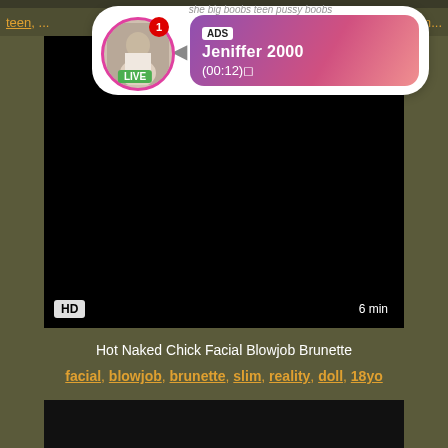teen, ... em...
[Figure (screenshot): Ad popup overlay showing a live avatar with pink border, notification badge, LIVE badge, arrow, and pink gradient content area with ADS label, name Jeniffer 2000, and time (00:12)]
[Figure (screenshot): Black video player area with HD badge and 6 min duration badge]
Hot Naked Chick Facial Blowjob Brunette
facial, blowjob, brunette, slim, reality, doll, 18yo
[Figure (screenshot): Second black video player area, partially visible]